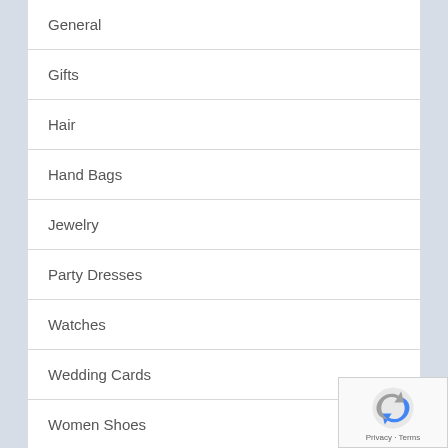General
Gifts
Hair
Hand Bags
Jewelry
Party Dresses
Watches
Wedding Cards
Women Shoes